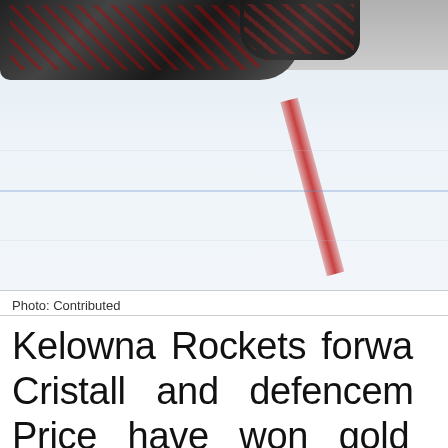[Figure (photo): Hockey goalie gear and pads visible at top of frame, lying on white ice surface with a red crease line visible in the background.]
Photo: Contributed
Kelowna Rockets forward Cristall and defenceman Price have won gold for Canada at the 2022 Hlinka Cup after a 4-1 win over